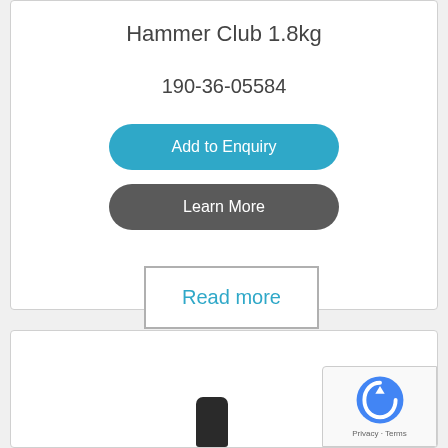Hammer Club 1.8kg
190-36-05584
Add to Enquiry
Learn More
Read more
[Figure (photo): Bottom of second product card showing a dark hammer handle/head at the bottom of the frame]